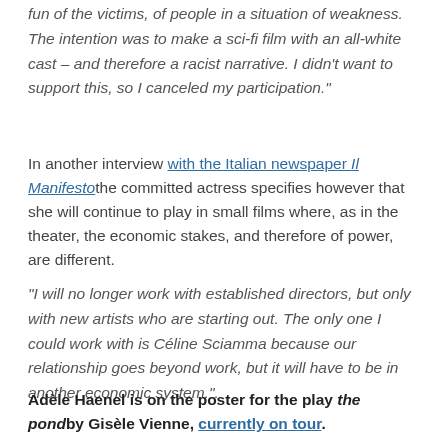fun of the victims, of people in a situation of weakness. The intention was to make a sci-fi film with an all-white cast – and therefore a racist narrative. I didn't want to support this, so I canceled my participation."
In another interview with the Italian newspaper Il Manifestothe committed actress specifies however that she will continue to play in small films where, as in the theater, the economic stakes, and therefore of power, are different.
"I will no longer work with established directors, but only with new artists who are starting out. The only one I could work with is Céline Sciamma because our relationship goes beyond work, but it will have to be in another economic system.".
Adèle Haenel is on the poster for the play the pond by Gisèle Vienne, currently on tour.